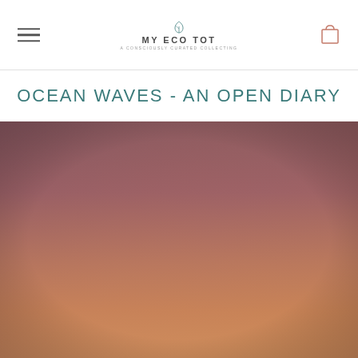MY ECO TOT — A CONSCIOUSLY CURATED COLLECTING
OCEAN WAVES - AN OPEN DIARY
[Figure (photo): A warm-toned gradient photograph of an ocean/sunset sky with hues ranging from muted rose/mauve at the top to warm peach/orange tones at the bottom, appearing to be a blurred or abstract seascape at dusk.]